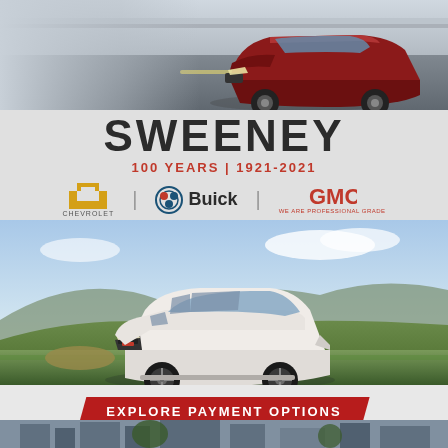[Figure (photo): Red Chevrolet SUV driving on a road at speed, motion blur background]
SWEENEY
100 YEARS | 1921-2021
[Figure (logo): Chevrolet bowtie logo, Buick tri-shield logo with BUICK text, GMC red lettering logo with WE ARE PROFESSIONAL GRADE tagline]
[Figure (photo): White GMC Acadia SUV parked on a grassy hillside with mountains and sky in background]
EXPLORE PAYMENT OPTIONS
SweeneyCars.com
[Figure (photo): Partial view of city/dealership buildings at the very bottom of the page]